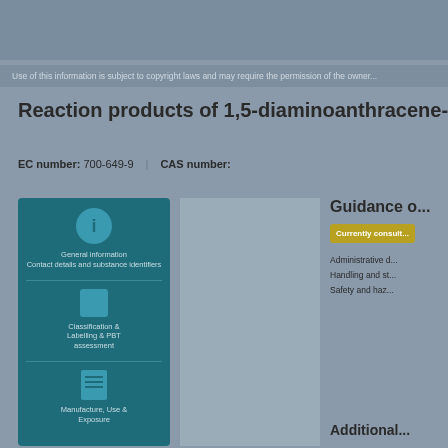Use of this information is subject to copyright laws and may require the permission...
Reaction products of 1,5-diaminoanthracene-9,10-dio...
EC number: 700-649-9   CAS number:
[Figure (infographic): Teal/dark blue left panel with icons: General information icon (circle with i), Classification & Labelling & PBT assessment icon (square icon), Manufacture/Use & Registration icon (document icon) with descriptive text labels]
[Figure (infographic): Middle grey panel with chemical structure diagram area]
Guidance o...
Currently consult...
Administrative d...
Handling and st...
Safety and haz...
Additional...